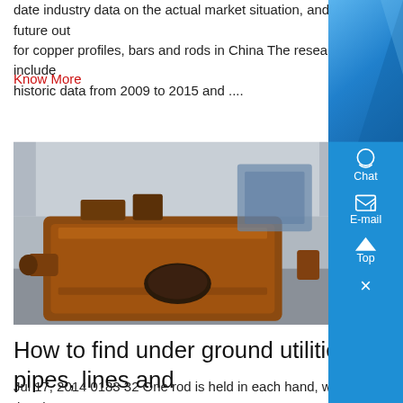date industry data on the actual market situation, and future out for copper profiles, bars and rods in China The research include historic data from 2009 to 2015 and ....
Know More
[Figure (photo): Industrial machinery — a large rusted/brown metal casting or furnace component on a factory floor]
How to find under ground utilities, pipes, lines and
Jul 17, 2014 0183 32 One rod is held in each hand, with the sho arm of the L held upright, and the long arm pointing forward Wh something is found, the rods cross over ,...
Know More